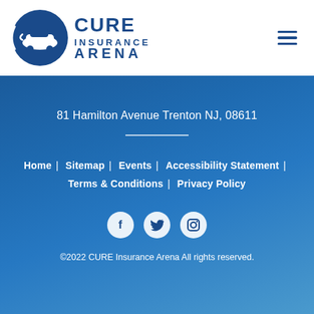[Figure (logo): CURE Insurance Arena logo — blue circle with white car silhouette on left, bold blue text CURE INSURANCE ARENA on right]
81 Hamilton Avenue Trenton NJ, 08611
Home | Sitemap | Events | Accessibility Statement | Terms & Conditions | Privacy Policy
[Figure (illustration): Three white social media icon circles: Facebook (f), Twitter (bird), Instagram (camera)]
©2022 CURE Insurance Arena All rights reserved.